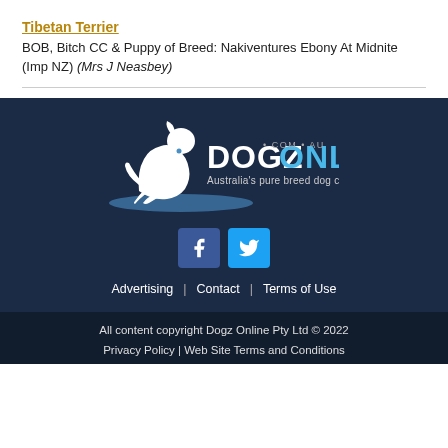Tibetan Terrier
BOB, Bitch CC & Puppy of Breed: Nakiventures Ebony At Midnite (Imp NZ) (Mrs J Neasbey)
[Figure (logo): DogzOnline .COM .AU logo with dog silhouette, text: Australia's pure breed dog community]
[Figure (infographic): Facebook and Twitter social media icon buttons]
Advertising | Contact | Terms of Use
All content copyright Dogz Online Pty Ltd © 2022 Privacy Policy | Web Site Terms and Conditions